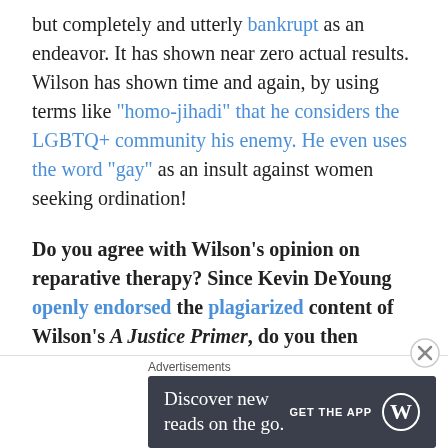but completely and utterly bankrupt as an endeavor. It has shown near zero actual results. Wilson has shown time and again, by using terms like "homo-jihadi" that he considers the LGBTQ+ community his enemy. He even uses the word "gay" as an insult against women seeking ordination!
Do you agree with Wilson's opinion on reparative therapy? Since Kevin DeYoung openly endorsed the plagiarized content of Wilson's A Justice Primer, do you then accept the actions and words of Wilson as just? Do you think Wilson is qualified to speak on Justice, or Love/Respect based on his open
Advertisements
[Figure (other): Advertisement banner: dark background with text 'Discover new reads on the go.' and 'GET THE APP' with WordPress logo]